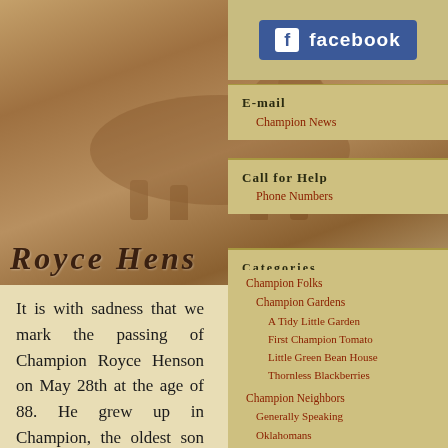[Figure (photo): Photo of a horse (chestnut/bay) standing outdoors with text 'Royce Hen...' visible at the bottom of the image]
[Figure (screenshot): Facebook button/link in blue]
E-mail
Champion News
Call for Help
Phone Numbers
Categories
Champion Folks
Champion Gardens
A Tidy Little Garden
First Champion Tomato
Little Green Bean House
Thornless Blackberries
Champion Neighbors
Generally Speaking
Oklahomans
Ethel McCallie
Skyliners
Skyline School
Skyline VFD
Chili Supper
The Rose Star Quilt
It is with sadness that we mark the passing of Champion Royce Henson on May 28th at the age of 88. He grew up in Champion, the oldest son of Ezra and Sylvia Henson. Ezra was a farmer and later on became the sheriff in A...